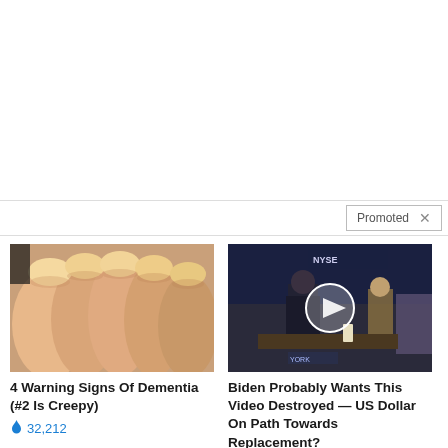[Figure (other): Blank white upper section of webpage]
Promoted ×
[Figure (photo): Close-up photo of human fingernails with yellowish tint]
4 Warning Signs Of Dementia (#2 Is Creepy)
🔥 32,212
[Figure (photo): Video thumbnail showing a man at NYSE stock exchange desk with a play button overlay]
Biden Probably Wants This Video Destroyed — US Dollar On Path Towards Replacement?
🔥 130,014